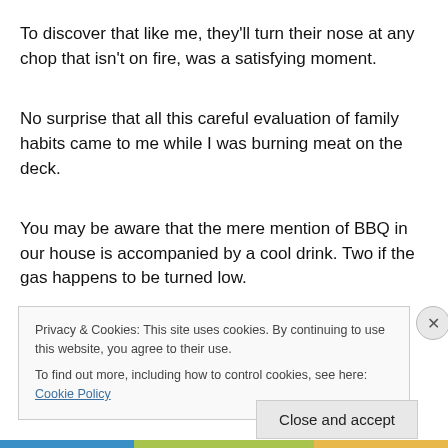To discover that like me, they'll turn their nose at any chop that isn't on fire, was a satisfying moment.
No surprise that all this careful evaluation of family habits came to me while I was burning meat on the deck.
You may be aware that the mere mention of BBQ in our house is accompanied by a cool drink. Two if the gas happens to be turned low.
That could be the reason I started thinking of other things
Privacy & Cookies: This site uses cookies. By continuing to use this website, you agree to their use.
To find out more, including how to control cookies, see here: Cookie Policy